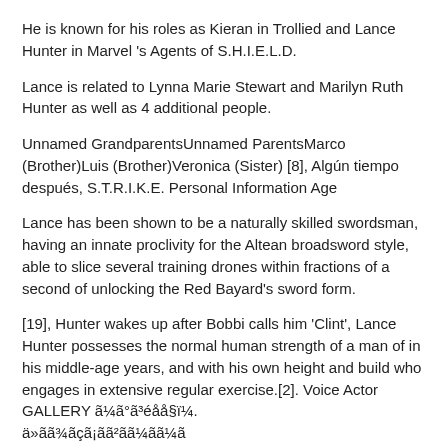He is known for his roles as Kieran in Trollied and Lance Hunter in Marvel 's Agents of S.H.I.E.L.D.
Lance is related to Lynna Marie Stewart and Marilyn Ruth Hunter as well as 4 additional people.
Unnamed GrandparentsUnnamed ParentsMarco (Brother)Luis (Brother)Veronica (Sister) [8], Algún tiempo después, S.T.R.I.K.E. Personal Information Age
Lance has been shown to be a naturally skilled swordsman, having an innate proclivity for the Altean broadsword style, able to slice several training drones within fractions of a second of unlocking the Red Bayard's sword form.
[19], Hunter wakes up after Bobbi calls him 'Clint', Lance Hunter possesses the normal human strength of a man of in his middle-age years, and with his own height and build who engages in extensive regular exercise.[2]. Voice Actor GALLERY ã¼ã°ã³éå§ï¼. ä»ãã¾ãçã¡ãã²ãã¼ãã¼ã ä½é¨ãã¿æ¥½ãã¼ãã¼ãã¼ã¤ã¼ã°ã¼ãã¼ã«ã¼ã±ã¼ã¹ã¼¹ã http://www.cyberhunter.game/jp/index.html?v2. Earth Lance's